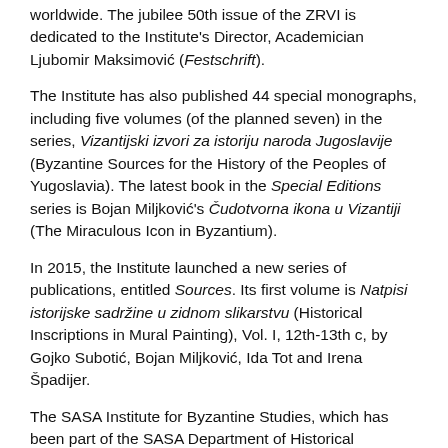worldwide. The jubilee 50th issue of the ZRVI is dedicated to the Institute's Director, Academician Ljubomir Maksimović (Festschrift).
The Institute has also published 44 special monographs, including five volumes (of the planned seven) in the series, Vizantijski izvori za istoriju naroda Jugoslavije (Byzantine Sources for the History of the Peoples of Yugoslavia). The latest book in the Special Editions series is Bojan Miljković's Čudotvorna ikona u Vizantiji (The Miraculous Icon in Byzantium).
In 2015, the Institute launched a new series of publications, entitled Sources. Its first volume is Natpisi istorijske sadržine u zidnom slikarstvu (Historical Inscriptions in Mural Painting), Vol. I, 12th-13th c, by Gojko Subotić, Bojan Miljković, Ida Tot and Irena Špadijer.
The SASA Institute for Byzantine Studies, which has been part of the SASA Department of Historical Sciences since its inception, is in charge of organizing the majority of scholarly activities in the field of Byzantine studies. In the paste seven decades, in cooperation with SASA members, the Serbian (previously Yugoslav) Committee for Byzantine Studies and